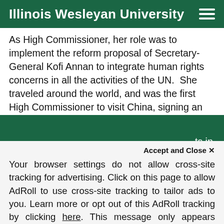Illinois Wesleyan University
As High Commissioner, her role was to implement the reform proposal of Secretary-General Kofi Annan to integrate human rights concerns in all the activities of the UN.  She traveled around the world, and was the first High Commissioner to visit China, signing an agreement to implement a wide-ranging program of [obscured] ts in
We use cookies to improve your experience on our website. By continuing to use our site,
Accept and Close ✕
Your browser settings do not allow cross-site tracking for advertising. Click on this page to allow AdRoll to use cross-site tracking to tailor ads to you. Learn more or opt out of this AdRoll tracking by clicking here. This message only appears once.